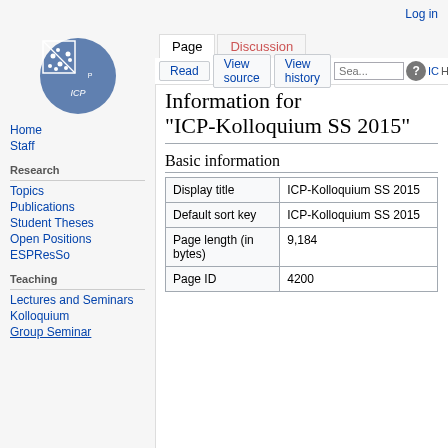Log in
[Figure (logo): ICP wiki logo: circular blue icon with network/scatter diagram and ICP text]
Page | Discussion
Read | View source | View history | Search | IC Help
Information for "ICP-Kolloquium SS 2015"
Basic information
| Display title | ICP-Kolloquium SS 2015 |
| Default sort key | ICP-Kolloquium SS 2015 |
| Page length (in bytes) | 9,184 |
| Page ID | 4200 |
Home
Staff
Research
Topics
Publications
Student Theses
Open Positions
ESPResSo
Teaching
Lectures and Seminars
Kolloquium
Group Seminar